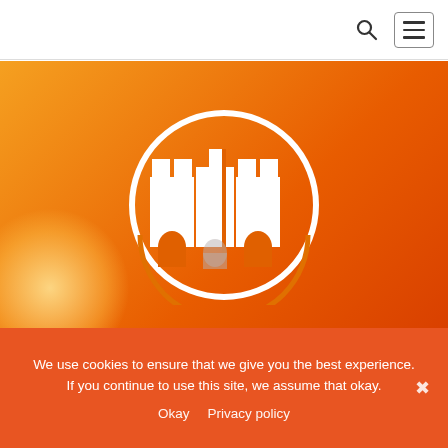[Search icon] [Menu button]
[Figure (logo): Orange gradient hero banner with a white castle/fortress logo inside a circle, and a sun glow effect at bottom left]
We use cookies to ensure that we give you the best experience. If you continue to use this site, we assume that okay.
Okay   Privacy policy